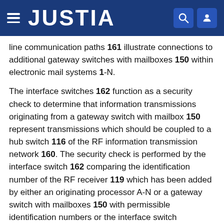JUSTIA
line communication paths 161 illustrate connections to additional gateway switches with mailboxes 150 within electronic mail systems 1-N.
The interface switches 162 function as a security check to determine that information transmissions originating from a gateway switch with mailbox 150 represent transmissions which should be coupled to a hub switch 116 of the RF information transmission network 160. The security check is performed by the interface switch 162 comparing the identification number of the RF receiver 119 which has been added by either an originating processor A-N or a gateway switch with mailboxes 150 with permissible identification numbers or the interface switch performing the addition of the identification number.
The interface switch 162 also removes information